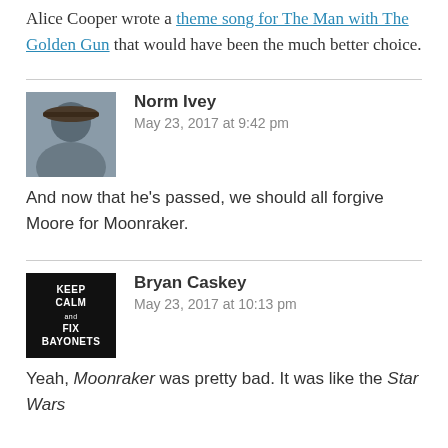Alice Cooper wrote a theme song for The Man with The Golden Gun that would have been the much better choice.
Norm Ivey
May 23, 2017 at 9:42 pm
And now that he’s passed, we should all forgive Moore for Moonraker.
Bryan Caskey
May 23, 2017 at 10:13 pm
Yeah, Moonraker was pretty bad. It was like the Star Wars